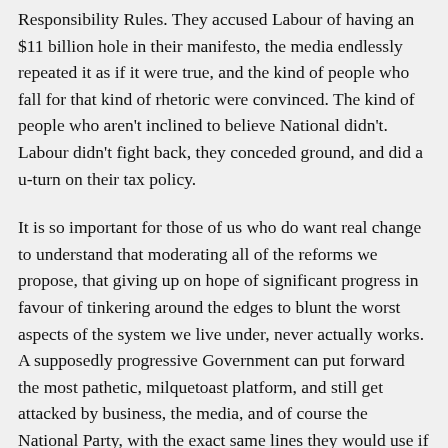Responsibility Rules. They accused Labour of having an $11 billion hole in their manifesto, the media endlessly repeated it as if it were true, and the kind of people who fall for that kind of rhetoric were convinced. The kind of people who aren't inclined to believe National didn't. Labour didn't fight back, they conceded ground, and did a u-turn on their tax policy.
It is so important for those of us who do want real change to understand that moderating all of the reforms we propose, that giving up on hope of significant progress in favour of tinkering around the edges to blunt the worst aspects of the system we live under, never actually works. A supposedly progressive Government can put forward the most pathetic, milquetoast platform, and still get attacked by business, the media, and of course the National Party, with the exact same lines they would use if we were actually fighting for a transformational agenda: business confidence is down, the economy is going to collapse, stop these "radical reforms", the left are